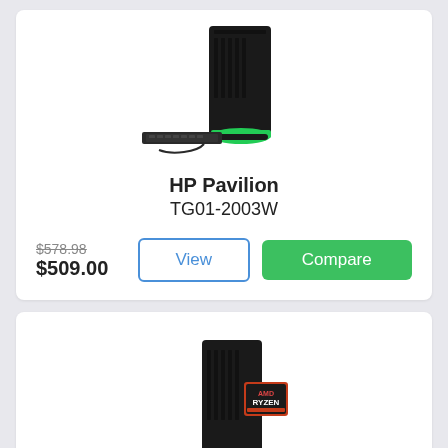[Figure (photo): HP Pavilion TG01-2003W desktop tower computer with keyboard, black with green accent lighting]
HP Pavilion
TG01-2003W
$578.98 (strikethrough original price) $509.00 (sale price)
View
Compare
[Figure (photo): HP Pavilion desktop tower computer with keyboard, black with green accent lighting and AMD Ryzen processor badge]